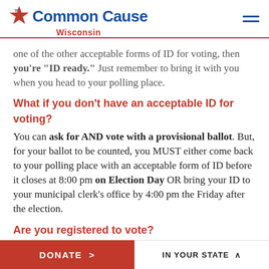Common Cause Wisconsin
one of the other acceptable forms of ID for voting, then you're "ID ready." Just remember to bring it with you when you head to your polling place.
What if you don't have an acceptable ID for voting?
You can ask for AND vote with a provisional ballot. But, for your ballot to be counted, you MUST either come back to your polling place with an acceptable form of ID before it closes at 8:00 pm on Election Day OR bring your ID to your municipal clerk's office by 4:00 pm the Friday after the election.
Are you registered to vote?
Check to see if you are registered to vote at your current address. If you are not, be sure to bring a proof of residence document (hard copy or
DONATE >    IN YOUR STATE ∧